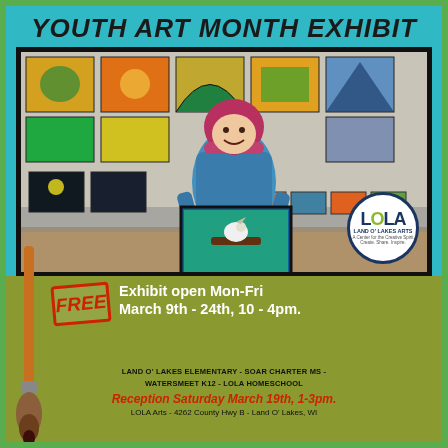YOUTH ART MONTH EXHIBIT
[Figure (photo): Young girl in a colorful winter hat and jacket standing in an art gallery, holding a large framed painting of a bird on a branch. Behind her are multiple colorful artwork panels displayed on the walls.]
[Figure (logo): LOLA Land O' Lakes Arts circular logo with blue and green colors]
FREE
Exhibit open Mon-Fri March 9th - 24th, 10 - 4pm.
LAND O' LAKES ELEMENTARY - SOAR CHARTER MS - WATERSMEET K12 - LOLA HOMESCHOOL
Reception Saturday March 19th, 1-3pm.
LOLA Arts - 4262 County Hwy B - Land O' Lakes, WI